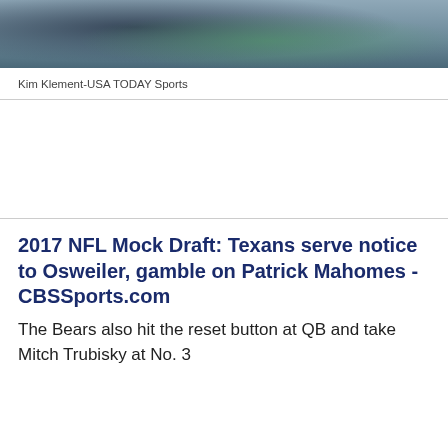[Figure (photo): Cropped sports photo showing an NFL player in a Seattle Seahawks uniform (teal/green) and another player in white, partial upper bodies visible]
Kim Klement-USA TODAY Sports
2017 NFL Mock Draft: Texans serve notice to Osweiler, gamble on Patrick Mahomes - CBSSports.com
The Bears also hit the reset button at QB and take Mitch Trubisky at No. 3